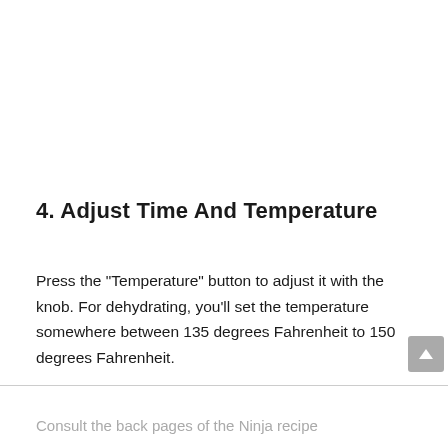4. Adjust Time And Temperature
Press the "Temperature" button to adjust it with the knob. For dehydrating, you'll set the temperature somewhere between 135 degrees Fahrenheit to 150 degrees Fahrenheit.
Consult the back pages of the Ninja recipe